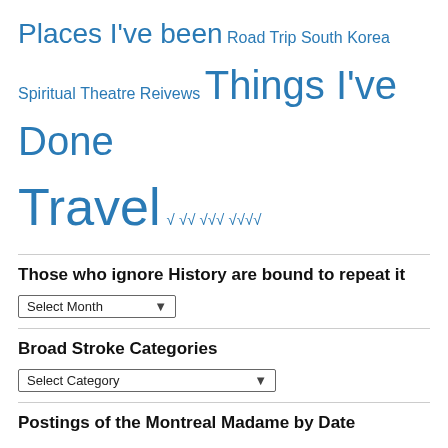[Figure (infographic): Tag cloud showing blog categories in various font sizes and blue color: 'Places I've been' (large), 'Road Trip' (medium), 'South Korea' (medium), 'Spiritual' (medium), 'Theatre Reivews' (medium), 'Things I've Done' (very large), 'Travel' (huge), and check-mark rating symbols: √ √√ √√√ √√√√]
Those who ignore History are bound to repeat it
Select Month (dropdown)
Broad Stroke Categories
Select Category (dropdown)
Postings of the Montreal Madame by Date